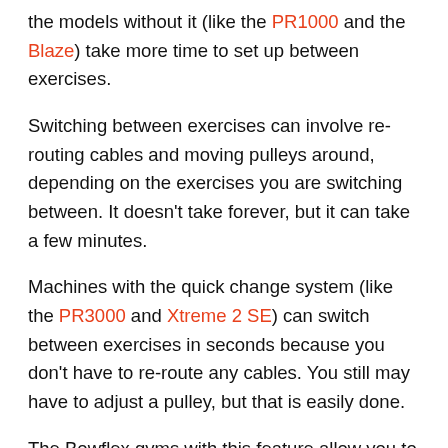the models without it (like the PR1000 and the Blaze) take more time to set up between exercises.
Switching between exercises can involve re-routing cables and moving pulleys around, depending on the exercises you are switching between. It doesn't take forever, but it can take a few minutes.
Machines with the quick change system (like the PR3000 and Xtreme 2 SE) can switch between exercises in seconds because you don't have to re-route any cables. You still may have to adjust a pulley, but that is easily done.
The Bowflex gyms with this feature allow you to save a lot of time with your workout. It comes in especially handy if you are trying to do circuit training or HIIT workouts that include short rest periods between sets